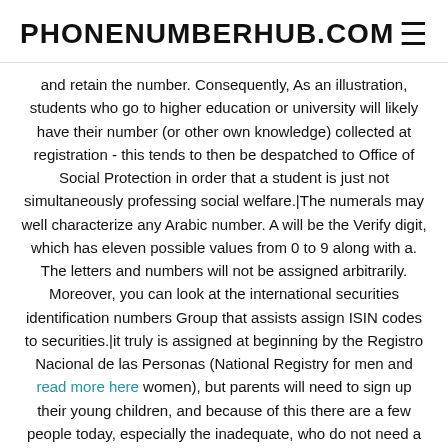PHONENUMBERHUB.COM
and retain the number. Consequently, As an illustration, students who go to higher education or university will likely have their number (or other own knowledge) collected at registration - this tends to then be despatched to Office of Social Protection in order that a student is just not simultaneously professing social welfare.|The numerals may well characterize any Arabic number. A will be the Verify digit, which has eleven possible values from 0 to 9 along with a. The letters and numbers will not be assigned arbitrarily. Moreover, you can look at the international securities identification numbers Group that assists assign ISIN codes to securities.|it truly is assigned at beginning by the Registro Nacional de las Personas (National Registry for men and read more here women), but parents will need to sign up their young children, and because of this there are a few people today, especially the inadequate, who do not need a DNI.|the very first six give the birth date in YYMMDD structure. Digits seven to nine (NNG) are used to make the number unique, exactly where digit nine (G) is odd for guys important link and also for Women of all ages. read here For numbers issued prior to 1990, the seventh and eighth digit identify the county of delivery or international born people, but privacy associated criticism brought about This method to generally be